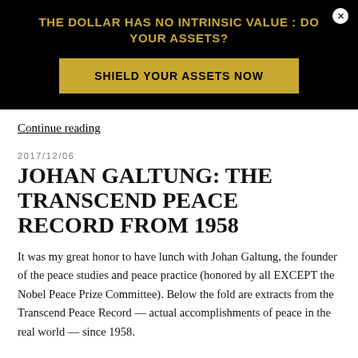[Figure (other): Advertisement banner with black background. Title text in gold: 'THE DOLLAR HAS NO INTRINSIC VALUE : DO YOUR ASSETS?' with a gold button 'SHIELD YOUR ASSETS NOW' and a white close button with X.]
Continue reading
2017/12/06
JOHAN GALTUNG: THE TRANSCEND PEACE RECORD FROM 1958
It was my great honor to have lunch with Johan Galtung, the founder of the peace studies and peace practice (honored by all EXCEPT the Nobel Peace Prize Committee). Below the fold are extracts from the Transcend Peace Record — actual accomplishments of peace in the real world — since 1958.